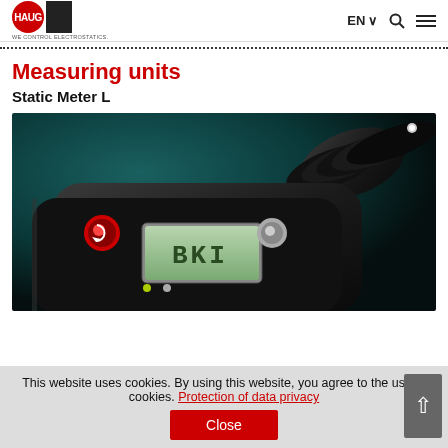HAUG - WE CONTROL ELECTROSTATICS. EN Search Menu
Measuring units
Static Meter L
[Figure (photo): Close-up photograph of the HAUG Static Meter L handheld electrostatic measuring device, showing a dark body with LCD display showing 'BKI', red and white control buttons, on a teal/dark background.]
This website uses cookies. By using this website, you agree to the use of cookies. Protection of data privacy
Close